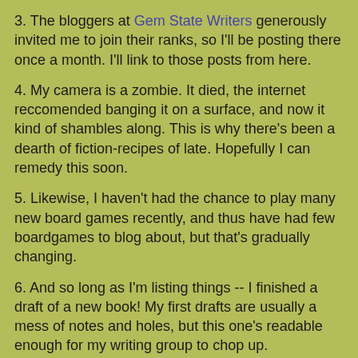3. The bloggers at Gem State Writers generously invited me to join their ranks, so I'll be posting there once a month.  I'll link to those posts from here.
4. My camera is a zombie.  It died, the internet reccomended banging it on a surface, and now it kind of shambles along.  This is why there's been a dearth of fiction-recipes of late.  Hopefully I can remedy this soon.
5. Likewise, I haven't had the chance to play many new board games recently, and thus have had few boardgames to blog about, but that's gradually changing.
6. And so long as I'm listing things -- I finished a draft of a new book!  My first drafts are usually a mess of notes and holes, but this one's readable enough for my writing group to chop up.
MKHutchins at 7:47 PM    3 comments: